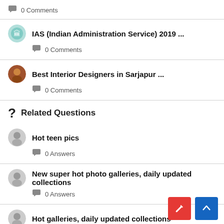0 Comments
IAS (Indian Administration Service) 2019 ... — 0 Comments
Best Interior Designers in Sarjapur ... — 0 Comments
Related Questions
Hot teen pics — 0 Answers
New super hot photo galleries, daily updated collections — 0 Answers
Hot galleries, daily updated collections